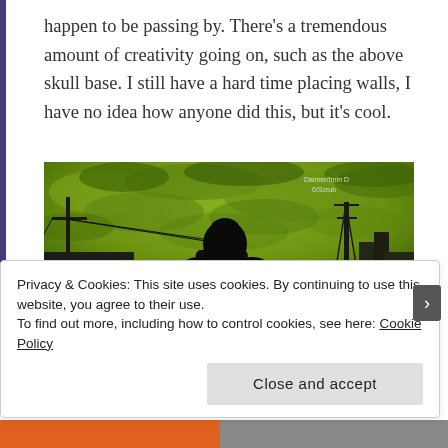happen to be passing by. There's a tremendous amount of creativity going on, such as the above skull base. I still have a hard time placing walls, I have no idea how anyone did this, but it's cool.
[Figure (screenshot): A video game screenshot with a green-tinted stormy sky, a silhouetted character in a hoodie, power lines, a tower, and a sign reading 'CHARLESTON' in the background.]
Privacy & Cookies: This site uses cookies. By continuing to use this website, you agree to their use.
To find out more, including how to control cookies, see here: Cookie Policy
Close and accept